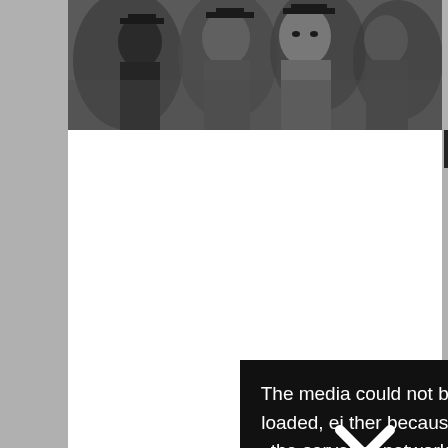[Figure (photo): Photo of several young women at what appears to be a graduation ceremony, dark and moody tones, faces in profile and facing camera]
[Figure (screenshot): Media player with white background showing a video player UI with a black error overlay message: 'The media could not be loaded, either because the server or network failed or because the' with an X close button]
There are also many free scholarships to study in